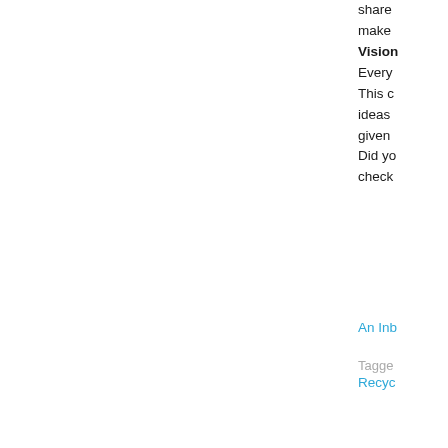share
make
Vision
Every
This c
ideas
given
Did yo
check
An Inb
Tagged
Recyc
« Wo
Differ